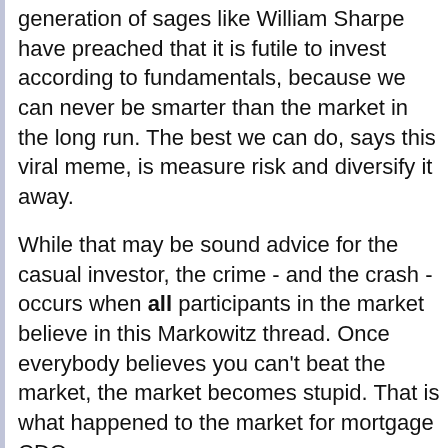generation of sages like William Sharpe have preached that it is futile to invest according to fundamentals, because we can never be smarter than the market in the long run. The best we can do, says this viral meme, is measure risk and diversify it away.
While that may be sound advice for the casual investor, the crime - and the crash - occurs when all participants in the market believe in this Markowitz thread. Once everybody believes you can't beat the market, the market becomes stupid. That is what happened to the market for mortgage CDOs.
Diversification is a disease of intellectual laziness.